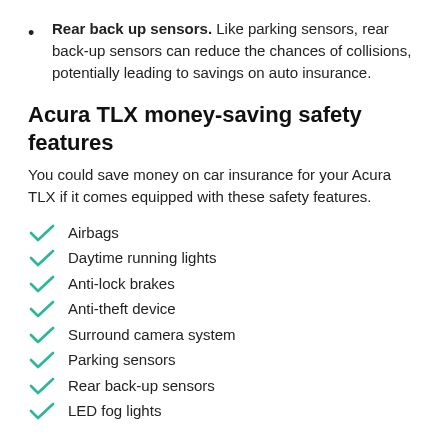Rear back up sensors. Like parking sensors, rear back-up sensors can reduce the chances of collisions, potentially leading to savings on auto insurance.
Acura TLX money-saving safety features
You could save money on car insurance for your Acura TLX if it comes equipped with these safety features.
Airbags
Daytime running lights
Anti-lock brakes
Anti-theft device
Surround camera system
Parking sensors
Rear back-up sensors
LED fog lights